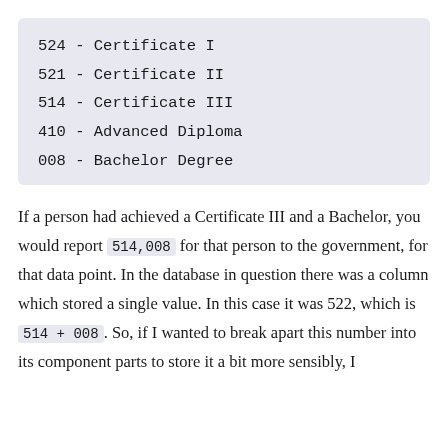524 - Certificate I
521 - Certificate II
514 - Certificate III
410 - Advanced Diploma
008 - Bachelor Degree
If a person had achieved a Certificate III and a Bachelor, you would report 514,008 for that person to the government, for that data point. In the database in question there was a column which stored a single value. In this case it was 522, which is 514 + 008. So, if I wanted to break apart this number into its component parts to store it a bit more sensibly, I